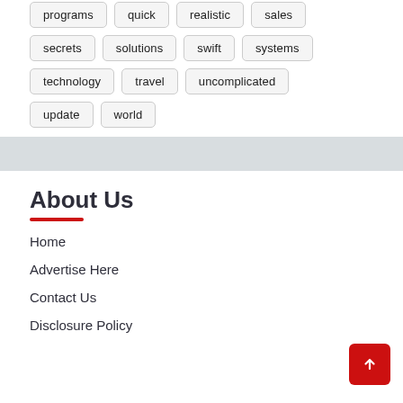programs
quick
realistic
sales
secrets
solutions
swift
systems
technology
travel
uncomplicated
update
world
About Us
Home
Advertise Here
Contact Us
Disclosure Policy